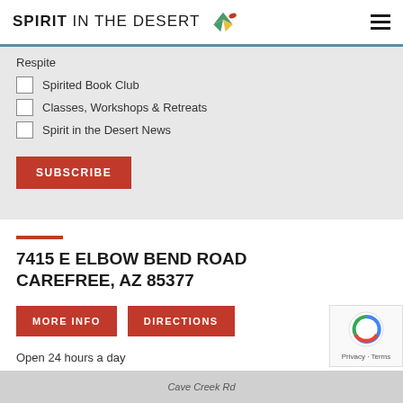SPIRIT IN THE DESERT
Respite
Spirited Book Club
Classes, Workshops & Retreats
Spirit in the Desert News
SUBSCRIBE
7415 E ELBOW BEND ROAD CAREFREE, AZ 85377
MORE INFO
DIRECTIONS
Open 24 hours a day
480.488.5218
info@spiritinthedesert.org
Cave Creek Rd